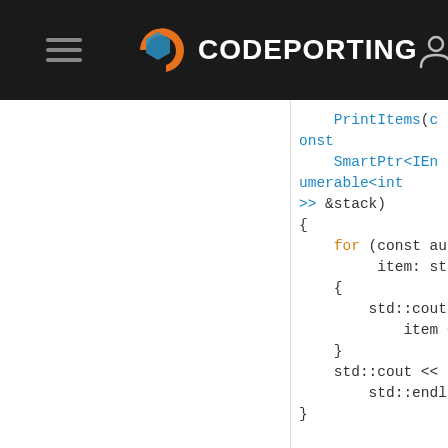CODEPORTING
[Figure (screenshot): C++ code snippet showing PrintItems function with for loop using std::cout, followed by int main() function beginning]